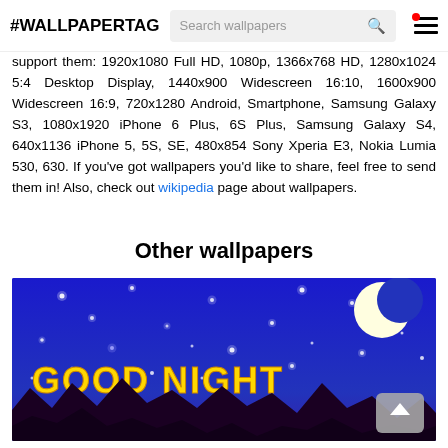#WALLPAPERTAG [Search wallpapers] [menu]
support them: 1920x1080 Full HD, 1080p, 1366x768 HD, 1280x1024 5:4 Desktop Display, 1440x900 Widescreen 16:10, 1600x900 Widescreen 16:9, 720x1280 Android, Smartphone, Samsung Galaxy S3, 1080x1920 iPhone 6 Plus, 6S Plus, Samsung Galaxy S4, 640x1136 iPhone 5, 5S, SE, 480x854 Sony Xperia E3, Nokia Lumia 530, 630. If you've got wallpapers you'd like to share, feel free to send them in! Also, check out wikipedia page about wallpapers.
Other wallpapers
[Figure (photo): Good Night wallpaper showing a dark blue night sky with stars and a crescent moon, with 'GOOD NIGHT' text in yellow, and dark mountain silhouettes at the bottom. A grey back-to-top button appears in the bottom right corner.]